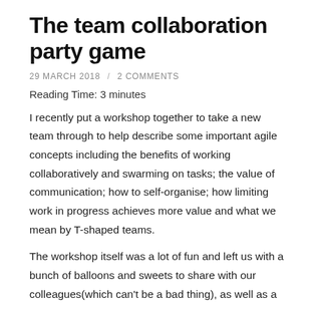The team collaboration party game
29 MARCH 2018 / 2 COMMENTS
Reading Time: 3 minutes
I recently put a workshop together to take a new team through to help describe some important agile concepts including the benefits of working collaboratively and swarming on tasks; the value of communication; how to self-organise; how limiting work in progress achieves more value and what we mean by T-shaped teams.
The workshop itself was a lot of fun and left us with a bunch of balloons and sweets to share with our colleagues(which can't be a bad thing), as well as a